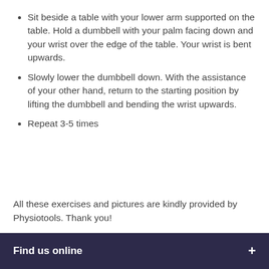Sit beside a table with your lower arm supported on the table. Hold a dumbbell with your palm facing down and your wrist over the edge of the table. Your wrist is bent upwards.
Slowly lower the dumbbell down. With the assistance of your other hand, return to the starting position by lifting the dumbbell and bending the wrist upwards.
Repeat 3-5 times
All these exercises and pictures are kindly provided by Physiotools. Thank you!
Find us online +